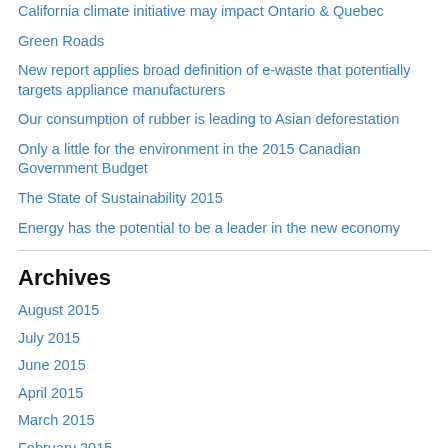California climate initiative may impact Ontario & Quebec
Green Roads
New report applies broad definition of e-waste that potentially targets appliance manufacturers
Our consumption of rubber is leading to Asian deforestation
Only a little for the environment in the 2015 Canadian Government Budget
The State of Sustainability 2015
Energy has the potential to be a leader in the new economy
Archives
August 2015
July 2015
June 2015
April 2015
March 2015
February 2015
January 2015
December 2014